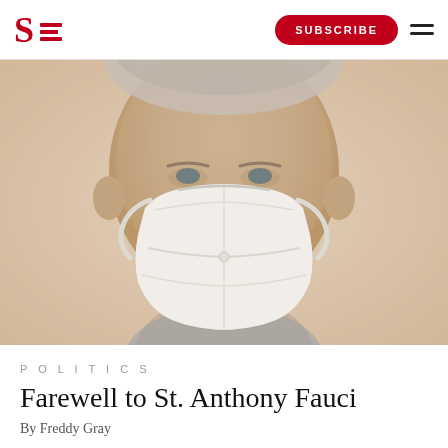S SUBSCRIBE
[Figure (photo): Close-up photo of an elderly man wearing a white KN95/FFP2 face mask, with gray hair and blue clothing visible, on a beige/cream background]
POLITICS
Farewell to St. Anthony Fauci
By Freddy Gray